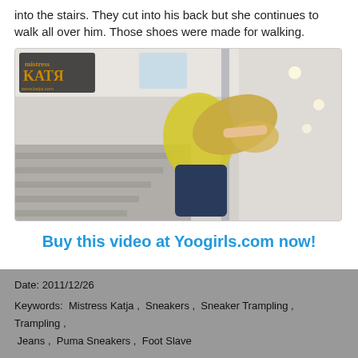into the stairs. They cut into his back but she continues to walk all over him. Those shoes were made for walking.
[Figure (photo): Woman with blonde hair wearing a yellow top and dark jeans, leaning over a staircase railing in a modern interior. A logo for 'Mistress Katja' is visible in the upper left corner.]
Buy this video at Yoogirls.com now!
Date: 2011/12/26
Keywords: Mistress Katja , Sneakers , Sneaker Trampling , Trampling , Jeans , Puma Sneakers , Foot Slave